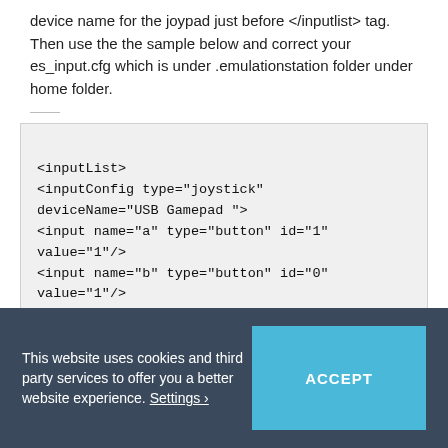device name for the joypad just before </inputlist> tag. Then use the the sample below and correct your es_input.cfg which is under .emulationstation folder under home folder.
<?xml version="1.0"?>
<inputList>
<inputConfig type="joystick" deviceName="USB Gamepad ">
<input name="a" type="button" id="1" value="1"/>
<input name="b" type="button" id="0" value="1"/>
<input name="down" type="axis" id="1" value="1"/>
<input name="left" type="axis" id="0" value="-1"/>
<input name="menu" type="button" id="3" value="1"/>
<input name="right" type="axis" id="0"
This website uses cookies and third party services to offer you a better website experience. Settings